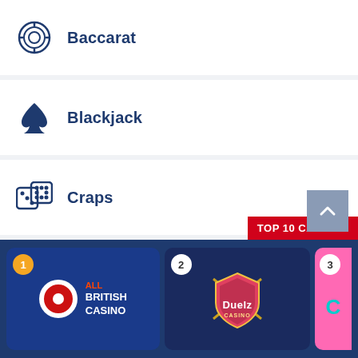Baccarat
Blackjack
Craps
Keno
Pai Gow Poker
Roulette
Sic Bo
[Figure (logo): All British Casino logo with red circle target icon]
[Figure (logo): Duelz Casino logo with shield emblem]
[Figure (logo): Partially visible third casino logo (pink background)]